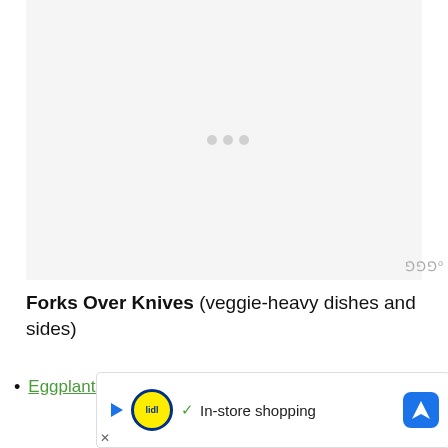[Figure (other): Placeholder image area with light gray background, loading dots visible in center]
Forks Over Knives (veggie-heavy dishes and sides)
Eggplant in Garlic Sauce (inspired by The Joy ...ks)
[Figure (other): Lidl advertisement banner: triangle play button, Lidl logo, checkmark, In-store shopping text, blue navigation arrow icon]